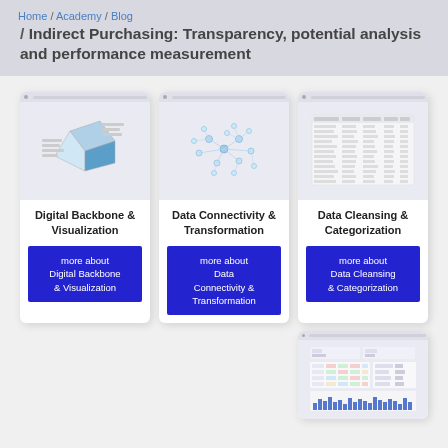Home / Academy / Blog
/ Indirect Purchasing: Transparency, potential analysis and performance measurement
[Figure (screenshot): Card showing Digital Backbone & Visualization with a 3D cube graphic and blue button]
Digital Backbone & Visualization
more about Digital Backbone & Visualization
[Figure (screenshot): Card showing Data Connectivity & Transformation with a network graph graphic and blue button]
Data Connectivity & Transformation
more about Data Connectivity & Transformation
[Figure (screenshot): Card showing Data Cleansing & Categorization with a table/data graphic and blue button]
Data Cleansing & Categorization
more about Data Cleansing & Categorization
[Figure (screenshot): Small card preview showing a dashboard with charts and data]